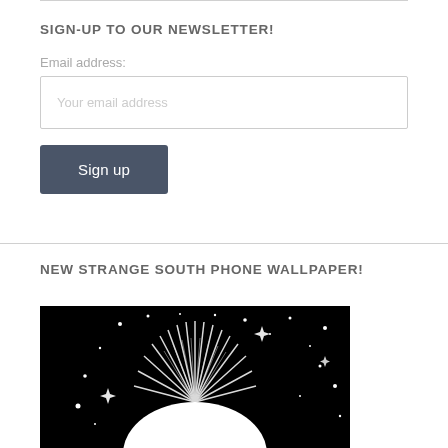SIGN-UP TO OUR NEWSLETTER!
Email address:
Your email address
Sign up
NEW STRANGE SOUTH PHONE WALLPAPER!
[Figure (illustration): Black background illustration showing a stylized moon or planet with radiating light beams/streaks and scattered stars and sparkles around it, white on black graphic art style.]